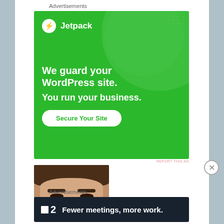Advertisements
[Figure (illustration): Jetpack advertisement on green background with text: We guard your WordPress site. You run your business. Secure Your Site button.]
REPORT THIS AD
[Figure (photo): Profile photo of a young woman with brown hair styled up, looking at the camera.]
Advertisements
[Figure (illustration): Basecamp advertisement on dark navy background with logo and text: Fewer meetings, more work.]
REPORT THIS AD